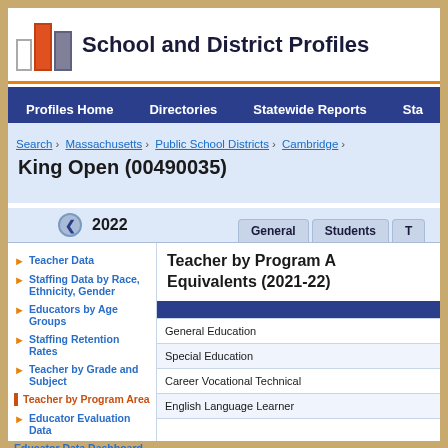School and District Profiles
Profiles Home | Directories | Statewide Reports | Sta
Search > Massachusetts > Public School Districts > Cambridge >
King Open (00490035)
2022
General | Students | T
Teacher Data
Staffing Data by Race, Ethnicity, Gender
Educators by Age Groups
Staffing Retention Rates
Teacher by Grade and Subject
Teacher by Program Area
Educator Evaluation Data
Educator Data Dashboard
Related Links:
Program Area Staffing Report
Teacher by Program Area and Full-Time Equivalents (2021-22)
| Program Area |
| --- |
| General Education |
| Special Education |
| Career Vocational Technical |
| English Language Learner |